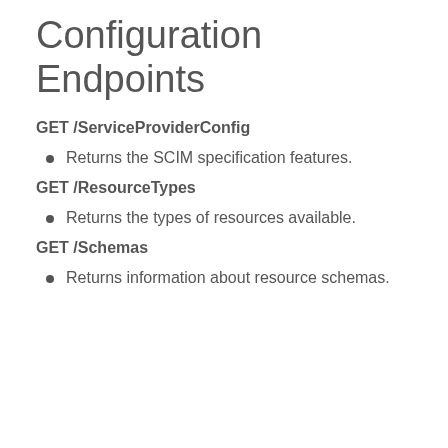Configuration Endpoints
GET /ServiceProviderConfig
Returns the SCIM specification features.
GET /ResourceTypes
Returns the types of resources available.
GET /Schemas
Returns information about resource schemas.